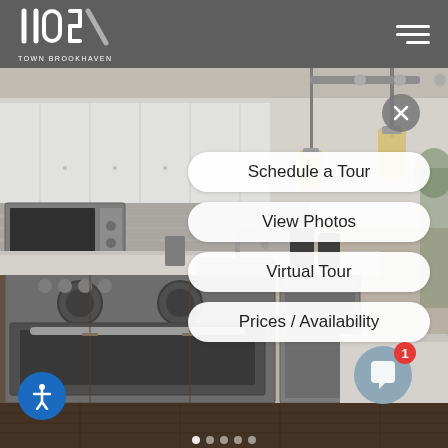1105 Town Brookhaven
[Figure (photo): Interior kitchen photo of a modern apartment with stainless steel appliances (oven, microwave, dishwasher), white upper cabinets, dark lower cabinets, tile backsplash, pendant lights hanging from ceiling, and dark hardwood floors.]
Schedule a Tour
View Photos
Virtual Tour
Prices / Availability